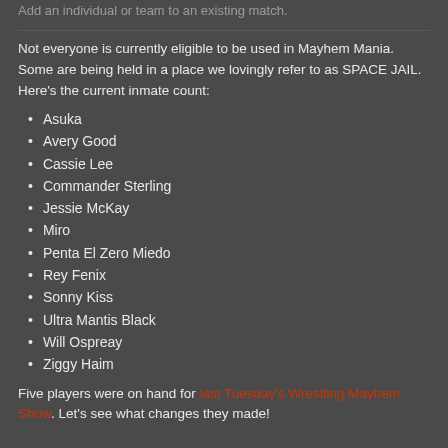Add an individual or team to an existing match.
Not everyone is currently eligible to be used in Mayhem Mania. Some are being held in a place we lovingly refer to as SPACE JAIL. Here's the current inmate count:
Asuka
Avery Good
Cassie Lee
Commander Sterling
Jessie McKay
Miro
Penta El Zero Miedo
Rey Fenix
Sonny Kiss
Ultra Mantis Black
Will Ospreay
Ziggy Haim
Five players were on hand for last Tuesday's Wrestling Mayhem Show. Let's see what changes they made!